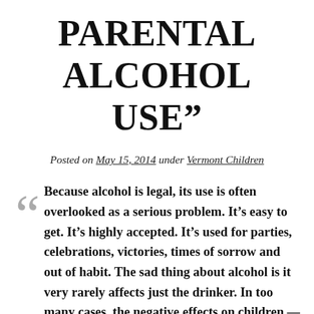PARENTAL ALCOHOL USE”
Posted on May 15, 2014 under Vermont Children
Because alcohol is legal, its use is often overlooked as a serious problem. It’s easy to get. It’s highly accepted. It’s used for parties, celebrations, victories, times of sorrow and out of habit. The sad thing about alcohol is it very rarely affects just the drinker. In too many cases, the negative effects on children — especially